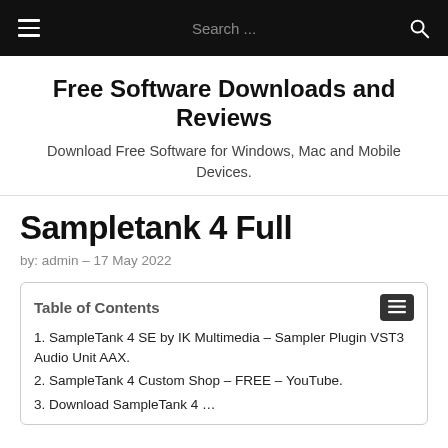Search ...
Free Software Downloads and Reviews
Download Free Software for Windows, Mac and Mobile Devices.
Sampletank 4 Full
by: admin – 17 May 2022
Table of Contents
1. SampleTank 4 SE by IK Multimedia – Sampler Plugin VST3 Audio Unit AAX.
2. SampleTank 4 Custom Shop – FREE – YouTube.
3. Download SampleTank 4 …